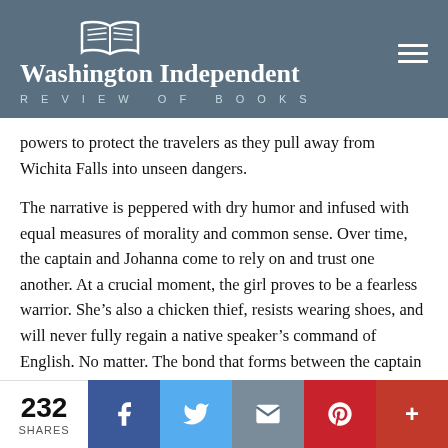Washington Independent REVIEW OF BOOKS
powers to protect the travelers as they pull away from Wichita Falls into unseen dangers.
The narrative is peppered with dry humor and infused with equal measures of morality and common sense. Over time, the captain and Johanna come to rely on and trust one another. At a crucial moment, the girl proves to be a fearless warrior. She’s also a chicken thief, resists wearing shoes, and will never fully regain a native speaker’s command of English. No matter. The bond that forms between the captain and his charge is deep and deeply affecting.
Jiles’ descriptive powers are as mighty as the land she paints. The author is an accomplished poet, as her lyrical language attests on every page. “They were lying among rocks and small spiny agarita; a lizard fled in a running of dark chevrons.” Or, “Above and behind them the Ri...
232 SHARES